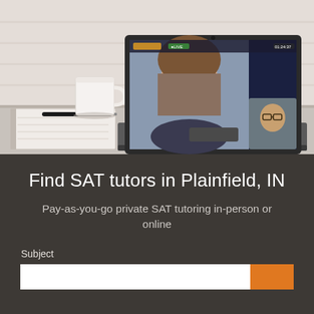[Figure (photo): Photo of a laptop on a desk showing a video tutoring session with two women on the screen. A white mug and a notebook with a pen are visible on the desk. The background is a white brick wall.]
Find SAT tutors in Plainfield, IN
Pay-as-you-go private SAT tutoring in-person or online
Subject